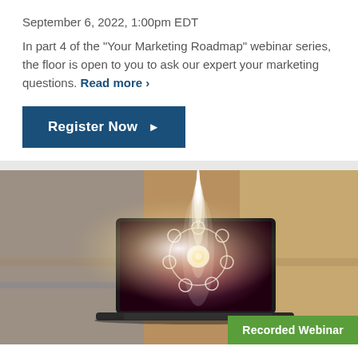September 6, 2022, 1:00pm EDT
In part 4 of the "Your Marketing Roadmap" webinar series, the floor is open to you to ask our expert your marketing questions. Read more >
Register Now ▶
[Figure (photo): A laptop computer with a glowing rocket launching from its screen, surrounded by circular digital marketing icons, set against a blurred warm-toned office background. A 'Recorded Webinar' badge appears in the bottom right corner.]
How to Start a